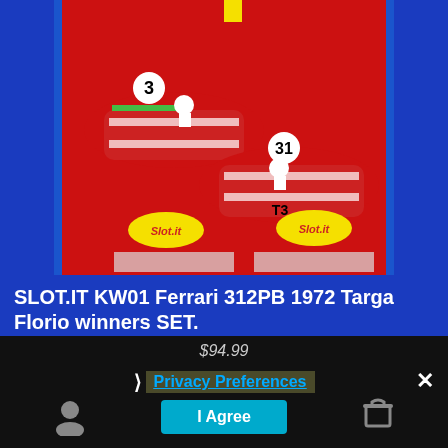[Figure (photo): Two red Slot.it Ferrari 312PB 1972 Targa Florio scale model cars numbered 3 and T3, displayed in their red packaging boxes with Slot.it branding and price stickers.]
SLOT.IT KW01 Ferrari 312PB 1972 Targa Florio winners SET.
$94.99
Privacy Preferences
I Agree